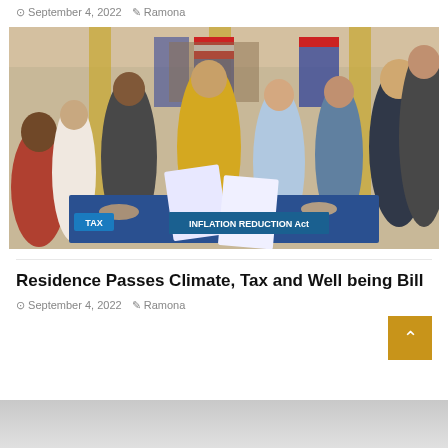September 4, 2022   Ramona
[Figure (photo): Group photo of politicians gathered around a table signing a document. A woman in a yellow jacket stands centrally. American flags visible in background. A sign on the table reads 'INFLATION REDUCTION Act'. A blue badge in the lower left reads 'TAX'.]
Residence Passes Climate, Tax and Well being Bill
September 4, 2022   Ramona
[Figure (photo): Partial view of another image at the bottom of the page, appears light gray/blue.]